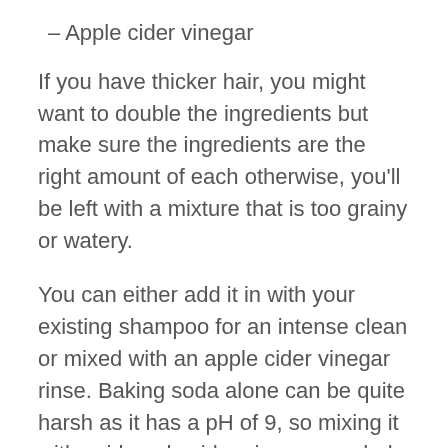– Apple cider vinegar
If you have thicker hair, you might want to double the ingredients but make sure the ingredients are the right amount of each otherwise, you'll be left with a mixture that is too grainy or watery.
You can either add it in with your existing shampoo for an intense clean or mixed with an apple cider vinegar rinse. Baking soda alone can be quite harsh as it has a pH of 9, so mixing it with acid apple cider vinegar can help balance the pH of your scalp while offering a deep, intense clean.
So here's how you do it.